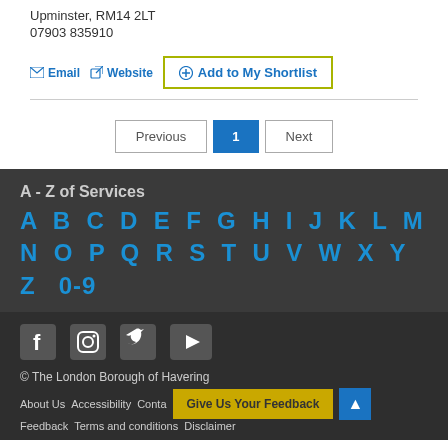Upminster, RM14 2LT
07903 835910
Email   Website   + Add to My Shortlist
Previous  1  Next
A - Z of Services
A B C D E F G H I J K L M N O P Q R S T U V W X Y Z 0-9
[Figure (infographic): Social media icons: Facebook, Instagram, Twitter, YouTube]
© The London Borough of Havering
About Us  Accessibility  Contact Us  Jobs  Privacy  Feedback  Terms and conditions  Disclaimer  Give Us Your Feedback